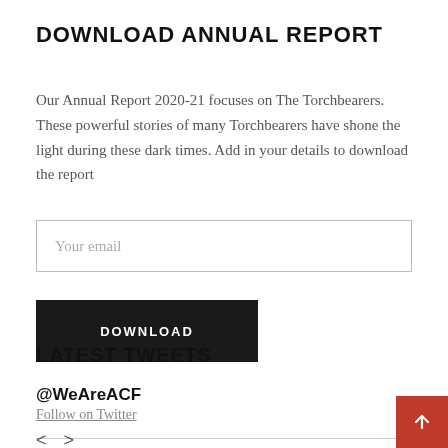DOWNLOAD ANNUAL REPORT
Our Annual Report 2020-21 focuses on The Torchbearers. These powerful stories of many Torchbearers have shone the light during these dark times. Add in your details to download the report
Your email
DOWNLOAD
LATEST TWEETS
@WeAreACF
Follow on Twitter
< >